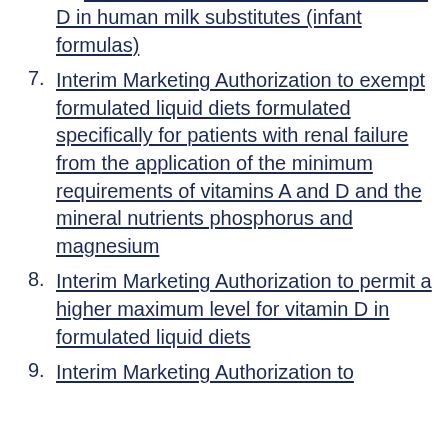D in human milk substitutes (infant formulas)
7. Interim Marketing Authorization to exempt formulated liquid diets formulated specifically for patients with renal failure from the application of the minimum requirements of vitamins A and D and the mineral nutrients phosphorus and magnesium
8. Interim Marketing Authorization to permit a higher maximum level for vitamin D in formulated liquid diets
9. Interim Marketing Authorization to